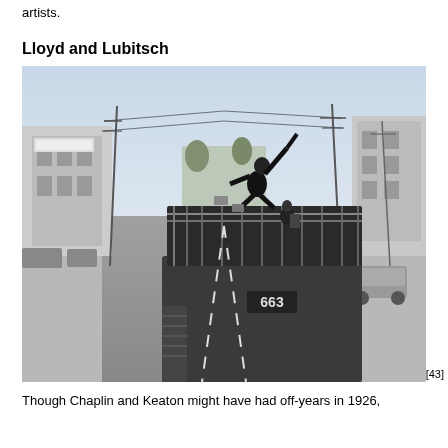artists.
Lloyd and Lubitsch
[Figure (photo): Black and white still photograph from a silent film era scene showing a stunt performer leaping or falling on top of a double-decker bus/trolley (numbered 663) in the middle of a wide urban street lined with utility poles and early 20th century buildings and automobiles.]
[43]
Though Chaplin and Keaton might have had off-years in 1926,